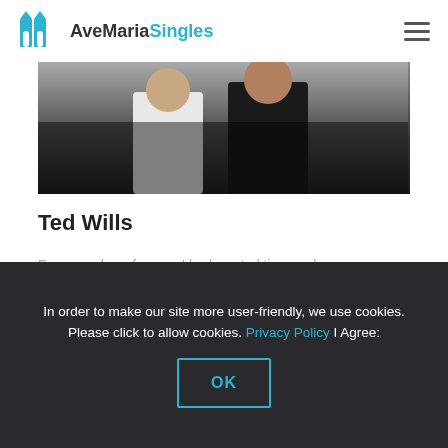AveMariaSingles
[Figure (photo): Cropped wedding or couple photo showing two people in formal attire, partially visible from mid-torso down, dark background]
Ted Wills
For a number of years, I had wasted time and money on different dating services and so-called "Catholic" ones as well. Thanks to this service and its Latin American extension, I was blessed to ...
In order to make our site more user-friendly, we use cookies. Please click to allow cookies. Privacy Policy I Agree: